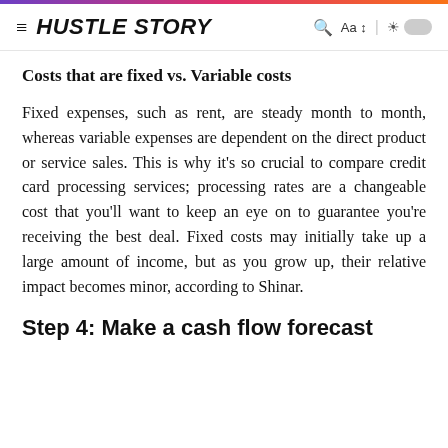HUSTLE STORY
Costs that are fixed vs. Variable costs
Fixed expenses, such as rent, are steady month to month, whereas variable expenses are dependent on the direct product or service sales. This is why it's so crucial to compare credit card processing services; processing rates are a changeable cost that you'll want to keep an eye on to guarantee you're receiving the best deal. Fixed costs may initially take up a large amount of income, but as you grow up, their relative impact becomes minor, according to Shinar.
Step 4: Make a cash flow forecast